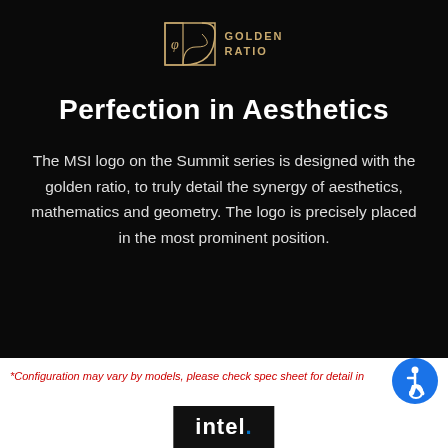[Figure (logo): Golden Ratio logo with golden spiral/rectangle icon and text 'GOLDEN RATIO' in gold]
Perfection in Aesthetics
The MSI logo on the Summit series is designed with the golden ratio, to truly detail the synergy of aesthetics, mathematics and geometry. The logo is precisely placed in the most prominent position.
*Configuration may vary by models, please check spec sheet for detail in
[Figure (logo): Intel logo on dark background]
[Figure (logo): Accessibility icon (blue circle with wheelchair user symbol)]